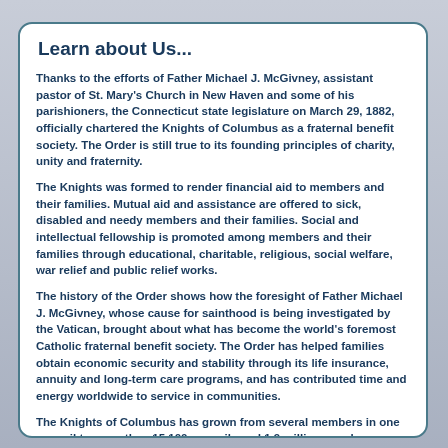Learn about Us...
Thanks to the efforts of Father Michael J. McGivney, assistant pastor of St. Mary's Church in New Haven and some of his parishioners, the Connecticut state legislature on March 29, 1882, officially chartered the Knights of Columbus as a fraternal benefit society. The Order is still true to its founding principles of charity, unity and fraternity.
The Knights was formed to render financial aid to members and their families. Mutual aid and assistance are offered to sick, disabled and needy members and their families. Social and intellectual fellowship is promoted among members and their families through educational, charitable, religious, social welfare, war relief and public relief works.
The history of the Order shows how the foresight of Father Michael J. McGivney, whose cause for sainthood is being investigated by the Vatican, brought about what has become the world’s foremost Catholic fraternal benefit society. The Order has helped families obtain economic security and stability through its life insurance, annuity and long-term care programs, and has contributed time and energy worldwide to service in communities.
The Knights of Columbus has grown from several members in one council to more than 15,100 councils and 1.9 million members throughout the United States, Canada, the Philippines, Mexico, Poland